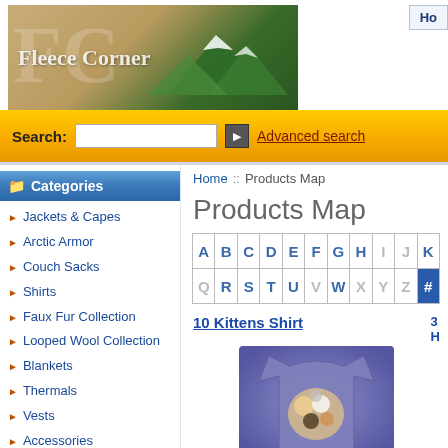Fleece Corner
Search: [input] Advanced search
Categories
Jackets & Capes
Arctic Armor
Couch Sacks
Shirts
Faux Fur Collection
Looped Wool Collection
Blankets
Thermals
Vests
Accessories
Clearance
Home :: Products Map
Products Map
A B C D E F G H I J K | Q R S T U V W X Y Z [#]
10 Kittens Shirt
[Figure (photo): Purple tie-dye t-shirt with kittens/cats graphic print]